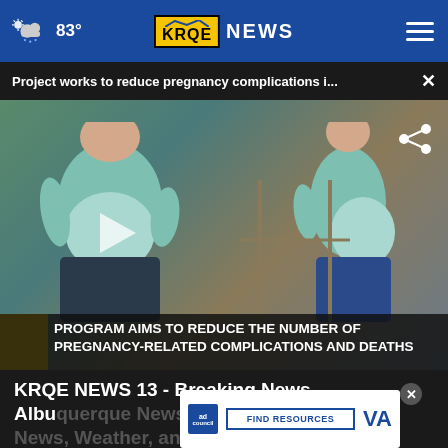83° KRQE NEWS
Project works to reduce pregnancy complications i...  ×
[Figure (screenshot): Video thumbnail showing two pregnant women standing side by side with a lower-third chyron reading: PROGRAM AIMS TO REDUCE THE NUMBER OF PREGNANCY-RELATED COMPLICATIONS AND DEATHS]
KRQE NEWS 13 - Breaking News, Albuquerque News, New Mexico News, Weather, and Videos - Video
[Figure (infographic): Advertisement overlay: ad council badge, FIND RESOURCES button, VA logo, with close X button]